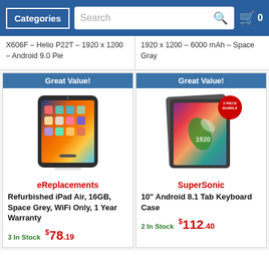Categories | Search | Cart 0
X606F – Helio P22T – 1920 x 1200 – Android 9.0 Pie
1920 x 1200 – 6000 mAh – Space Gray
[Figure (photo): Refurbished iPad Air product image with charging cable, labeled Great Value!]
eReplacements
Refurbished iPad Air, 16GB, Space Grey, WiFi Only, 1 Year Warranty
3 In Stock   $78.19
[Figure (photo): SuperSonic 10" Android 8.1 tablet with keyboard case, 2 piece bundle, labeled Great Value!]
SuperSonic
10" Android 8.1 Tab Keyboard Case
2 In Stock   $112.40